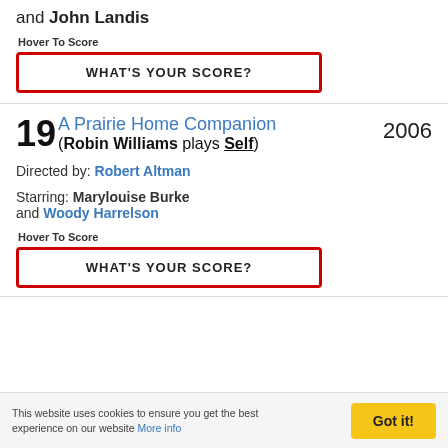and John Landis
Hover To Score
WHAT'S YOUR SCORE?
19 A Prairie Home Companion 2006 (Robin Williams plays Self)
Directed by: Robert Altman
Starring: Marylouise Burke and Woody Harrelson
Hover To Score
WHAT'S YOUR SCORE?
This website uses cookies to ensure you get the best experience on our website More info
Got it!